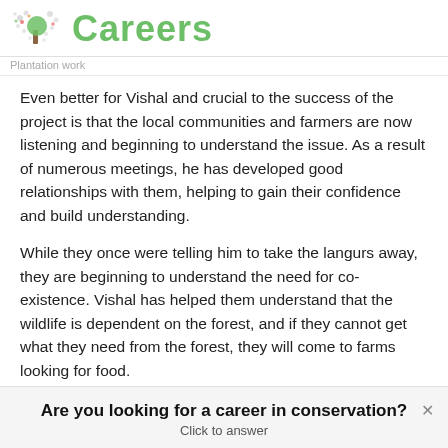Careers
Plantation work
Even better for Vishal and crucial to the success of the project is that the local communities and farmers are now listening and beginning to understand the issue. As a result of numerous meetings, he has developed good relationships with them, helping to gain their confidence and build understanding.
While they once were telling him to take the langurs away, they are beginning to understand the need for co-existence. Vishal has helped them understand that the wildlife is dependent on the forest, and if they cannot get what they need from the forest, they will come to farms looking for food.
Are you looking for a career in conservation?
Click to answer